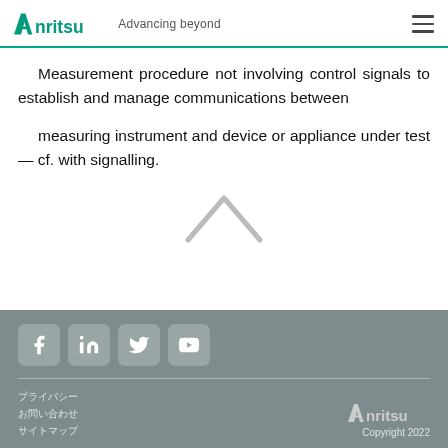Anritsu Advancing beyond
Measurement procedure not involving control signals to establish and manage communications between
measuring instrument and device or appliance under test — cf. with signalling.
[Figure (illustration): Up arrow chevron icon for scroll-to-top navigation]
Social media icons (Facebook, LinkedIn, Twitter, YouTube). Footer links in Japanese. Anritsu Copyright 2022.